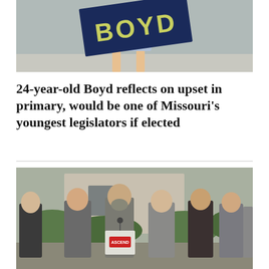[Figure (photo): Person holding a BOYD campaign yard sign (dark blue sign with yellow-green lettering)]
24-year-old Boyd reflects on upset in primary, would be one of Missouri's youngest legislators if elected
[Figure (photo): Group of men standing outdoors in front of a building; one man speaks at a podium with an ASCEND logo, flanked by several others in suits and casual attire]